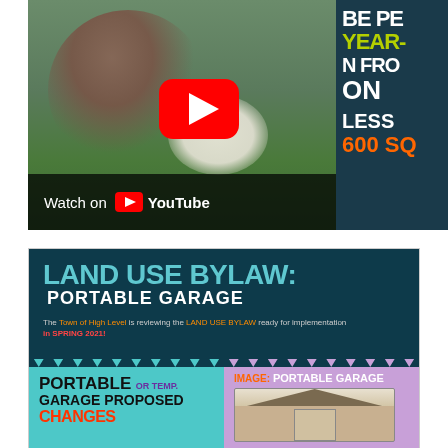[Figure (screenshot): YouTube video thumbnail showing a woman playing with a white fluffy dog on grass, with a YouTube play button overlay and 'Watch on YouTube' bar at the bottom. The right side shows partial text on a dark teal background: 'BE PE...', 'YEAR-', 'N FRO...', 'ON', 'LESS', '600 SQ']
[Figure (infographic): Land Use Bylaw infographic with dark teal header reading 'LAND USE BYLAW: PORTABLE GARAGE'. Subtitle: 'The Town of High Level is reviewing the LAND USE BYLAW ready for implementation in SPRING 2021!' Bottom half split into two panels: left teal panel with text 'PORTABLE OR TEMP. GARAGE PROPOSED CHANGES' and right purple panel with 'IMAGE: PORTABLE GARAGE' and a photo of a portable garage structure.]